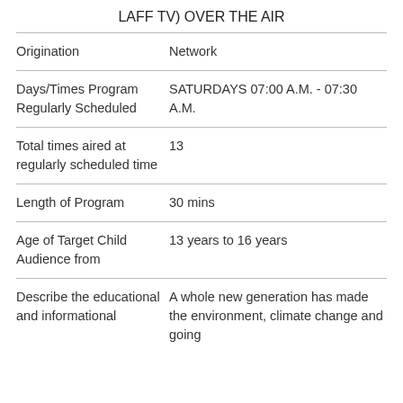LAFF TV) OVER THE AIR
| Field | Value |
| --- | --- |
| Origination | Network |
| Days/Times Program Regularly Scheduled | SATURDAYS 07:00 A.M. - 07:30 A.M. |
| Total times aired at regularly scheduled time | 13 |
| Length of Program | 30 mins |
| Age of Target Child Audience from | 13 years to 16 years |
| Describe the educational and informational | A whole new generation has made the environment, climate change and going |